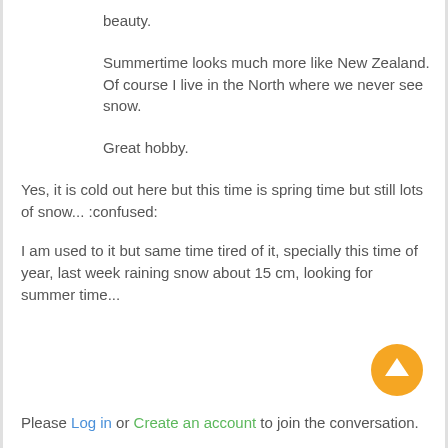beauty.
Summertime looks much more like New Zealand. Of course I live in the North where we never see snow.
Great hobby.
Yes, it is cold out here but this time is spring time but still lots of snow... :confused:
I am used to it but same time tired of it, specially this time of year, last week raining snow about 15 cm, looking for summer time...
Please Log in or Create an account to join the conversation.